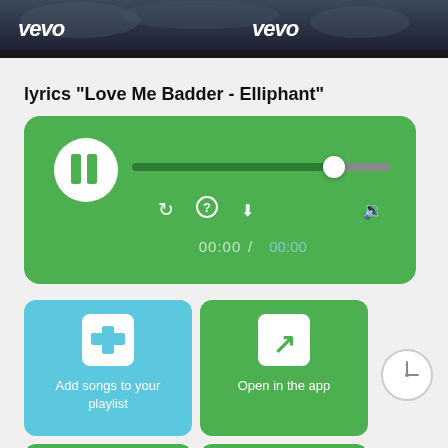vevo   vevo
lyrics "Love Me Badder - Elliphant"
[Figure (screenshot): Green music player widget with pause button, progress bar, playback controls (repeat, help, download), volume icon, and time display showing 00:00 / 00:00]
[Figure (screenshot): Blue button: Add songs to your playlist with white plus icon]
[Figure (screenshot): Green button: Open in the app with white arrow icon]
[Figure (screenshot): Green button with warning triangle icon (partially visible)]
[Figure (screenshot): Green button with download icon (partially visible)]
[Figure (screenshot): Circular clock/timer button on right side]